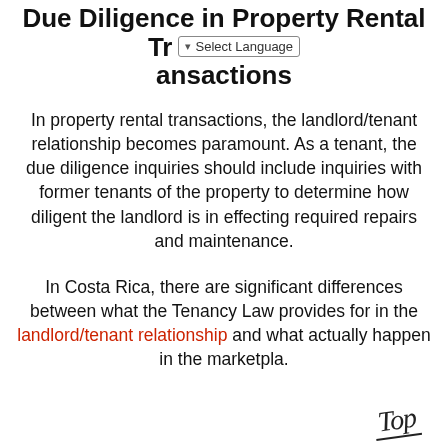Due Diligence in Property Rental Transactions
In property rental transactions, the landlord/tenant relationship becomes paramount. As a tenant, the due diligence inquiries should include inquiries with former tenants of the property to determine how diligent the landlord is in effecting required repairs and maintenance.
In Costa Rica, there are significant differences between what the Tenancy Law provides for in the landlord/tenant relationship and what actually happen in the marketplace.